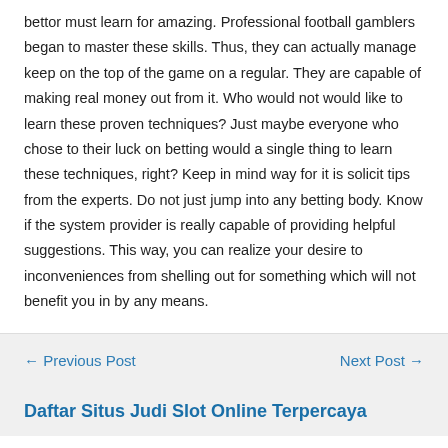bettor must learn for amazing. Professional football gamblers began to master these skills. Thus, they can actually manage keep on the top of the game on a regular. They are capable of making real money out from it. Who would not would like to learn these proven techniques? Just maybe everyone who chose to their luck on betting would a single thing to learn these techniques, right? Keep in mind way for it is solicit tips from the experts. Do not just jump into any betting body. Know if the system provider is really capable of providing helpful suggestions. This way, you can realize your desire to inconveniences from shelling out for something which will not benefit you in by any means.
← Previous Post
Next Post →
Daftar Situs Judi Slot Online Terpercaya